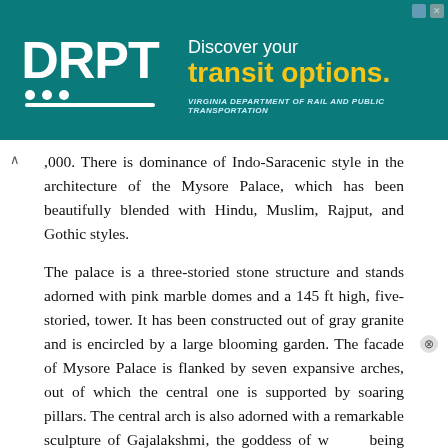[Figure (infographic): DRPT advertisement banner: teal background with DRPT logo on left (white bold letters with dots and lines), right side says 'Discover your transit options.' in white/yellow, subtitle 'VIRGINIA DEPARTMENT OF RAIL AND PUBLIC TRANSPORTATION']
,000. There is dominance of Indo-Saracenic style in the architecture of the Mysore Palace, which has been beautifully blended with Hindu, Muslim, Rajput, and Gothic styles.
The palace is a three-storied stone structure and stands adorned with pink marble domes and a 145 ft high, five-storied, tower. It has been constructed out of gray granite and is encircled by a large blooming garden. The facade of Mysore Palace is flanked by seven expansive arches, out of which the central one is supported by soaring pillars. The central arch is also adorned with a remarkable sculpture of Gajalakshmi, the goddess of w... being flanked by elephants on b...
Mysore Dasara Festival
Every year, Mysore Palace s... Mysore Dasara Festival, held in the autumn season. During the festival, the entire palace is lit up with thousands of bulbs. A stage is put in the palace grounds, where artistes from